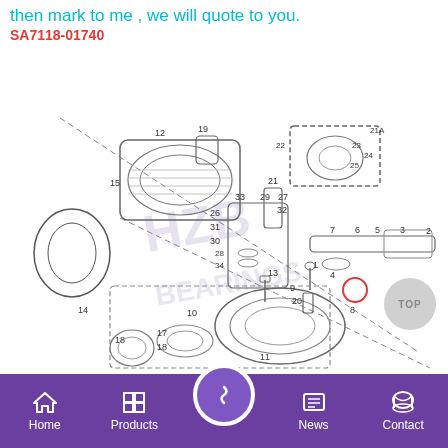then mark to me , we will quote to you.
SA7118-01740
[Figure (engineering-diagram): Exploded view engineering diagram of a hydraulic motor/gearbox assembly (SA7118-01740) showing numbered parts including gears, bearings, seals, shafts, and housing components. Part numbers labeled 1-34 and 21A. A red circle highlights part 8. The diagram has a 'HZB Bearings' watermark.]
| Pos | Part N... | Qty |  |
| --- | --- | --- | --- |
Home | Products | (center button) | News | Contact